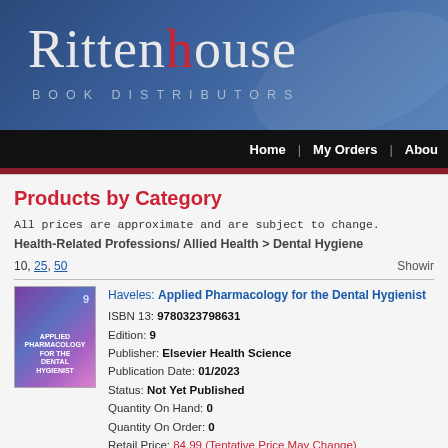[Figure (logo): Rittenhouse Book Distributors logo on dark blue gradient banner]
Home | My Orders | About
Products by Category
All prices are approximate and are subject to change.
Health-Related Professions/ Allied Health > Dental Hygiene
10, 25, 50   Showing
Haveles: Applied Pharmacology for the Dental Hygienist
ISBN 13: 9780323798631
Edition: 9
Publisher: Elsevier Health Science
Publication Date: 01/2023
Status: Not Yet Published
Quantity On Hand: 0
Quantity On Order: 0
Retail Price: 84.99 (Tentative Price May Change)
Harding: Care of Head and Neck Cancer Patients for Dental Hy